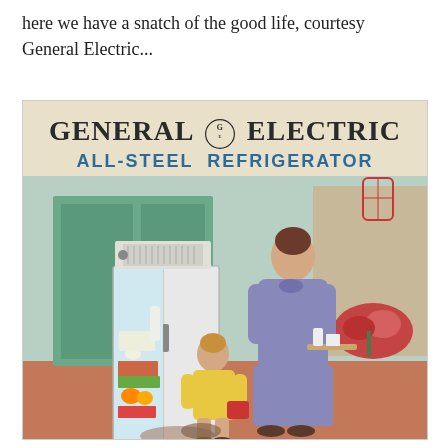here we have a snatch of the good life, courtesy General Electric...
[Figure (illustration): Vintage General Electric All-Steel Refrigerator advertisement showing a mother and young child in a kitchen, with an open refrigerator full of food. The refrigerator has an external motor unit on top. Text reads 'GENERAL ELECTRIC ALL-STEEL REFRIGERATOR'.]